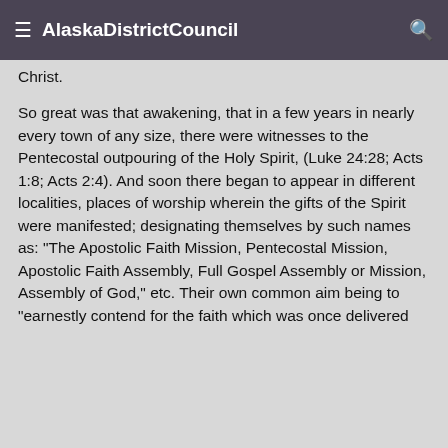AlaskaDistrictCouncil
Christ.
So great was that awakening, that in a few years in nearly every town of any size, there were witnesses to the Pentecostal outpouring of the Holy Spirit, (Luke 24:28; Acts 1:8; Acts 2:4). And soon there began to appear in different localities, places of worship wherein the gifts of the Spirit were manifested; designating themselves by such names as: "The Apostolic Faith Mission, Pentecostal Mission, Apostolic Faith Assembly, Full Gospel Assembly or Mission, Assembly of God," etc. Their own common aim being to "earnestly contend for the faith which was once delivered unto the saints" in the days of the Apostles.